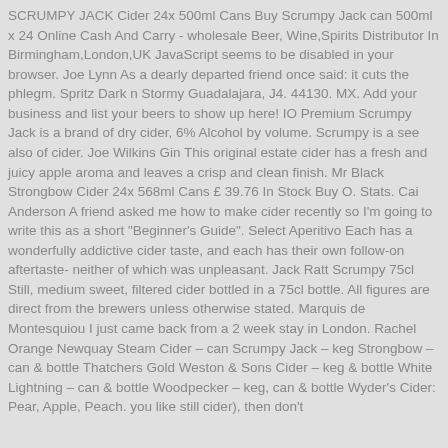SCRUMPY JACK Cider 24x 500ml Cans Buy Scrumpy Jack can 500ml x 24 Online Cash And Carry - wholesale Beer, Wine,Spirits Distributor In Birmingham,London,UK JavaScript seems to be disabled in your browser. Joe Lynn As a dearly departed friend once said: it cuts the phlegm. Spritz Dark n Stormy Guadalajara, J4. 44130. MX. Add your business and list your beers to show up here! IO Premium Scrumpy Jack is a brand of dry cider, 6% Alcohol by volume. Scrumpy is a see also of cider. Joe Wilkins Gin This original estate cider has a fresh and juicy apple aroma and leaves a crisp and clean finish. Mr Black Strongbow Cider 24x 568ml Cans £ 39.76 In Stock Buy O. Stats. Cai Anderson A friend asked me how to make cider recently so I'm going to write this as a short "Beginner's Guide". Select Aperitivo Each has a wonderfully addictive cider taste, and each has their own follow-on aftertaste- neither of which was unpleasant. Jack Ratt Scrumpy 75cl Still, medium sweet, filtered cider bottled in a 75cl bottle. All figures are direct from the brewers unless otherwise stated. Marquis de Montesquiou I just came back from a 2 week stay in London. Rachel Orange Newquay Steam Cider – can Scrumpy Jack – keg Strongbow – can & bottle Thatchers Gold Weston & Sons Cider – keg & bottle White Lightning – can & bottle Woodpecker – keg, can & bottle Wyder's Cider: Pear, Apple, Peach. you like still cider), then don't